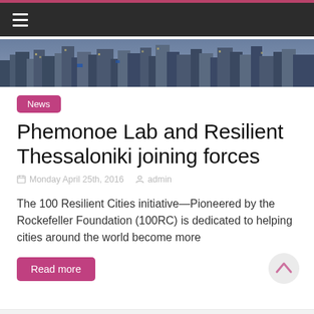≡
[Figure (photo): Aerial cityscape photo showing dense urban rooftops]
News
Phemonoe Lab and Resilient Thessaloniki joining forces
Monday April 25th, 2016   admin
The 100 Resilient Cities initiative—Pioneered by the Rockefeller Foundation (100RC) is dedicated to helping cities around the world become more
Read more